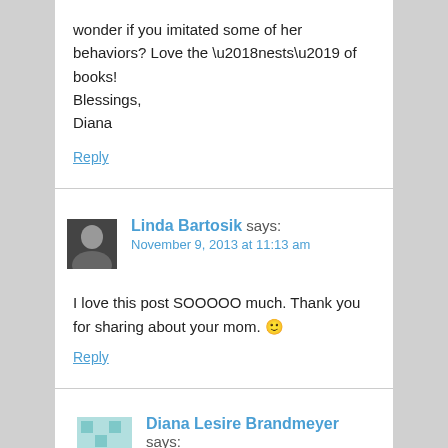wonder if you imitated some of her behaviors? Love the ‘nests’ of books! Blessings,
Diana
Reply
Linda Bartosik says:
November 9, 2013 at 11:13 am
I love this post SOOOOO much. Thank you for sharing about your mom. 🙂
Reply
Diana Lesire Brandmeyer says:
November 9, 2013 at 11:21 am